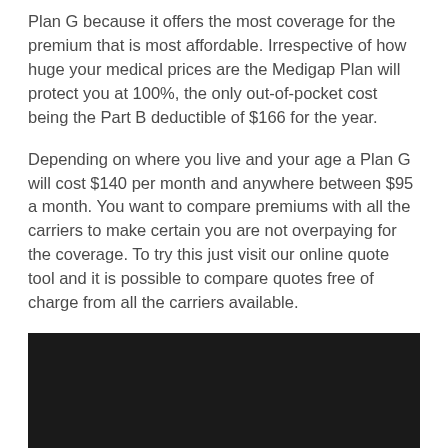Plan G because it offers the most coverage for the premium that is most affordable. Irrespective of how huge your medical prices are the Medigap Plan will protect you at 100%, the only out-of-pocket cost being the Part B deductible of $166 for the year.
Depending on where you live and your age a Plan G will cost $140 per month and anywhere between $95 a month. You want to compare premiums with all the carriers to make certain you are not overpaying for the coverage. To try this just visit our online quote tool and it is possible to compare quotes free of charge from all the carriers available.
[Figure (photo): Dark/black rectangular image area, likely a video thumbnail or photo with very dark content]